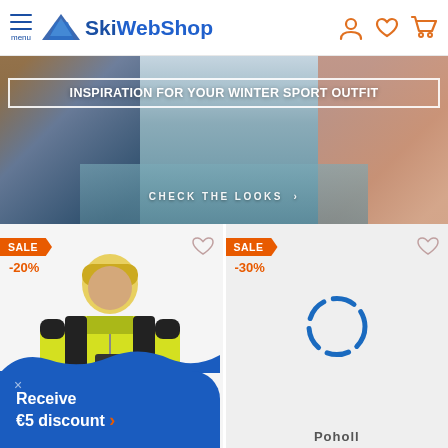SkiWebShop — menu, logo, account/wishlist/cart icons
[Figure (photo): Hero banner showing two people in winter ski outfits with mountain forest background. Text overlay: INSPIRATION FOR YOUR WINTER SPORT OUTFIT. Button: CHECK THE LOOKS]
INSPIRATION FOR YOUR WINTER SPORT OUTFIT
CHECK THE LOOKS ›
[Figure (photo): Left product card: Man wearing yellow and black ski jacket. Sale badge showing SALE -20%. Wishlist heart icon.]
SALE
-20%
[Figure (other): Right product card with loading spinner (blue dashed circle). Sale badge showing SALE -30%. Wishlist heart icon. Partial brand label at bottom.]
SALE
-30%
Receive €5 discount ›